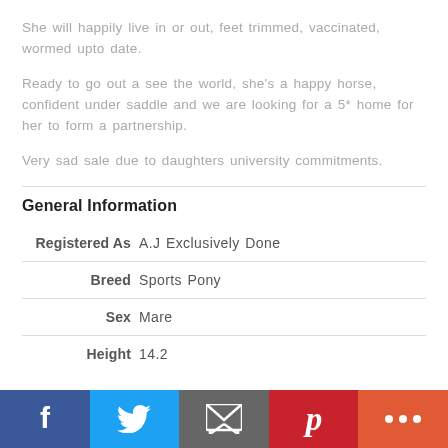She will happily live in or out, feet trimmed, vaccinated, wormed upto date.
Ready to go out a see the world, she's a happy horse, confident under saddle and we are looking for a 5* home for her to form a partnership.
Very sad sale due to daughters university commitments.
General Information
| Label | Value |
| --- | --- |
| Registered As | A.J Exclusively Done |
| Breed | Sports Pony |
| Sex | Mare |
| Height | 14.2 |